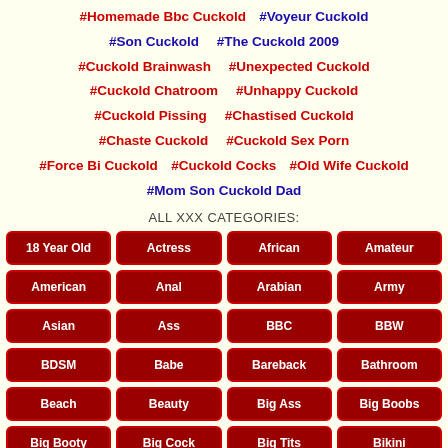#Homemade Bbc Cuckold  #Voyeur Cuckold  #Son Cuckold  #The Cuckold 2009  #Cuckold Brainwash  #Unexpected Cuckold  #Cuckold Chatroom  #Unhappy Cuckold  #Cuckold Pissing  #Chastised Cuckold  #Chaste Cuckold  #Cuckold Sex Porn  #Force Bi Cuckold  #Cuckold Cocks  #Old Wife Cuckold  #Mom Son Cuckold Dad
ALL XXX CATEGORIES:
18 Year Old  Actress  African  Amateur  American  Anal  Arabian  Army  Asian  Ass  BBC  BBW  BDSM  Babe  Bareback  Bathroom  Beach  Beauty  Big Ass  Big Boobs  Big Booty  Big Cock  Big Tits  Bikini